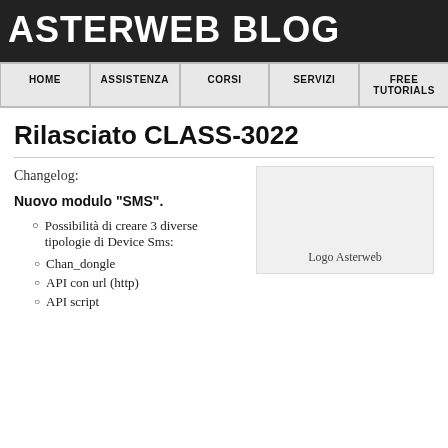ASTERWEB BLOG
HOME | ASSISTENZA | CORSI | SERVIZI | FREE TUTORIALS
Rilasciato CLASS-3022
[Figure (logo): Logo Asterweb placeholder box with caption 'Logo Asterweb']
Changelog:
Nuovo modulo "SMS".
Possibilità di creare 3 diverse tipologie di Device Sms:
Chan_dongle
API con url (http)
API script